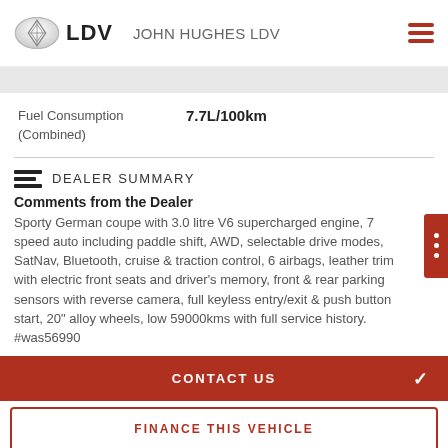LDV  JOHN HUGHES LDV
Fuel Consumption (Combined)   7.7L/100km
DEALER SUMMARY
Comments from the Dealer
Sporty German coupe with 3.0 litre V6 supercharged engine, 7 speed auto including paddle shift, AWD, selectable drive modes, SatNav, Bluetooth, cruise & traction control, 6 airbags, leather trim with electric front seats and driver's memory, front & rear parking sensors with reverse camera, full keyless entry/exit & push button start, 20" alloy wheels, low 59000kms with full service history. #was56990
CONTACT US
FINANCE THIS VEHICLE